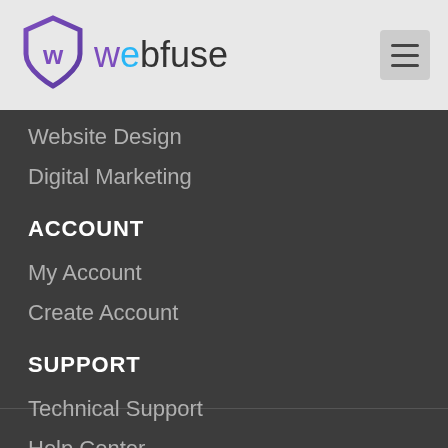[Figure (logo): Webfuse logo with purple/blue shield icon and stylized text 'webfuse']
Website Design
Digital Marketing
ACCOUNT
My Account
Create Account
SUPPORT
Technical Support
Help Center